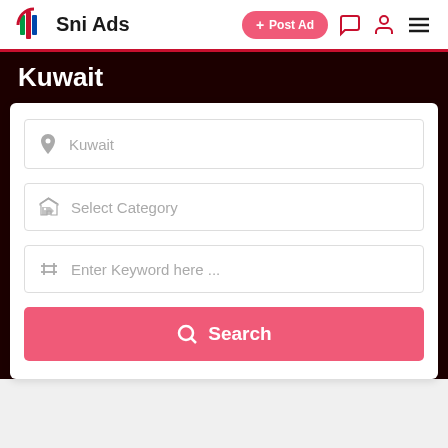Sni Ads — + Post Ad
Kuwait
[Figure (screenshot): Search form with three input fields: location (Kuwait), category (Select Category), keyword (Enter Keyword here ...), and a pink Search button]
Kuwait
Select Category
Enter Keyword here ...
Search